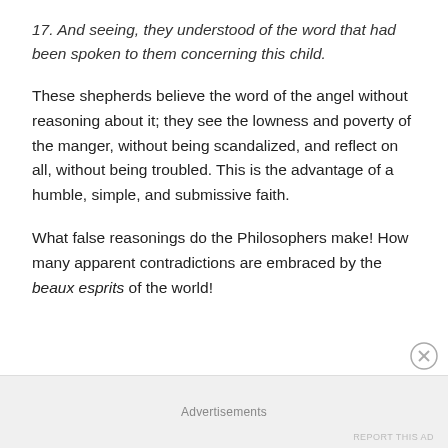17. And seeing, they understood of the word that had been spoken to them concerning this child.
These shepherds believe the word of the angel without reasoning about it; they see the lowness and poverty of the manger, without being scandalized, and reflect on all, without being troubled. This is the advantage of a humble, simple, and submissive faith.
What false reasonings do the Philosophers make! How many apparent contradictions are embraced by the beaux esprits of the world!
Advertisements